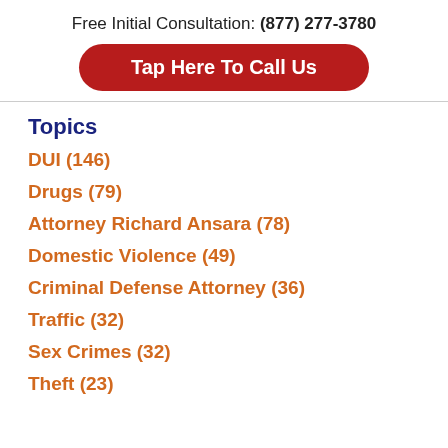Free Initial Consultation: (877) 277-3780
Tap Here To Call Us
Topics
DUI (146)
Drugs (79)
Attorney Richard Ansara (78)
Domestic Violence (49)
Criminal Defense Attorney (36)
Traffic (32)
Sex Crimes (32)
Theft (23)